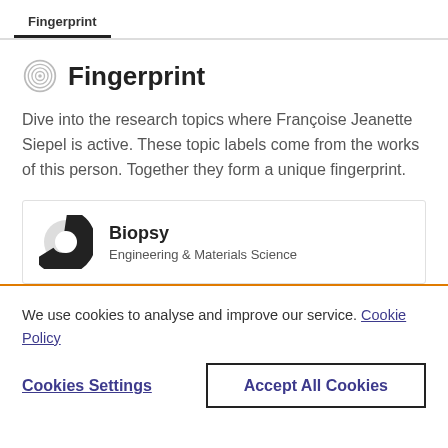Fingerprint
Fingerprint
Dive into the research topics where Françoise Jeanette Siepel is active. These topic labels come from the works of this person. Together they form a unique fingerprint.
Biopsy
Engineering & Materials Science
We use cookies to analyse and improve our service. Cookie Policy
Cookies Settings
Accept All Cookies